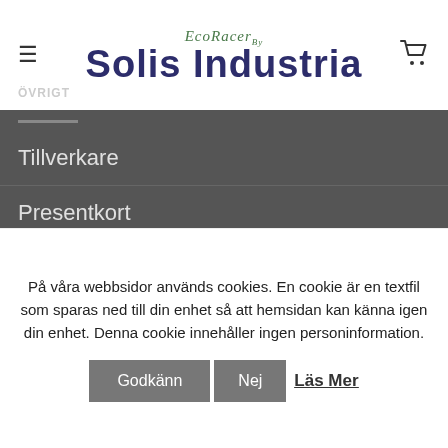EcoRacer / Solis Industria — navigation header with hamburger menu and cart icon
Tillverkare
Presentkort
Kampanjer
MITT KONTO
Konto/Login
På våra webbsidor används cookies. En cookie är en textfil som sparas ned till din enhet så att hemsidan kan känna igen din enhet. Denna cookie innehåller ingen personinformation.
Godkänn  Nej  Läs Mer